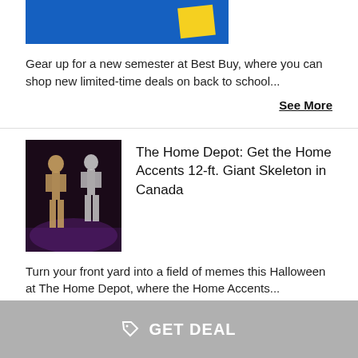[Figure (photo): Partial product image showing a blue background with a yellow sticky note, cropped at top]
Gear up for a new semester at Best Buy, where you can shop new limited-time deals on back to school...
See More
[Figure (photo): Two large Halloween skeleton figures standing outdoors at night with purple fog/mist]
The Home Depot: Get the Home Accents 12-ft. Giant Skeleton in Canada
Turn your front yard into a field of memes this Halloween at The Home Depot, where the Home Accents...
See More
GET DEAL